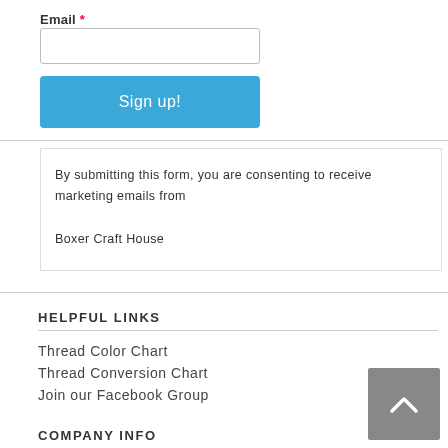Email *
Sign up!
By submitting this form, you are consenting to receive marketing emails from Boxer Craft House
HELPFUL LINKS
Thread Color Chart
Thread Conversion Chart
Join our Facebook Group
COMPANY INFO